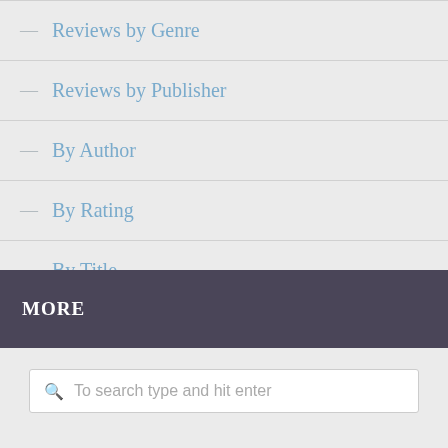— Reviews by Genre
— Reviews by Publisher
— By Author
— By Rating
— By Title
MORE
To search type and hit enter